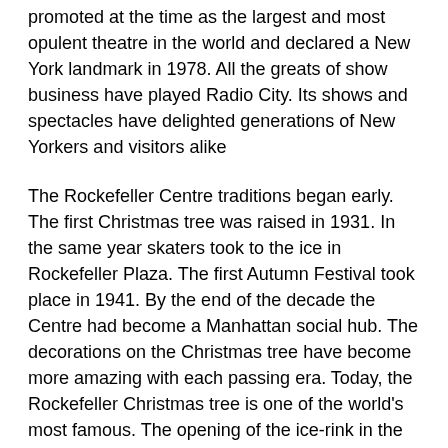promoted at the time as the largest and most opulent theatre in the world and declared a New York landmark in 1978. All the greats of show business have played Radio City. Its shows and spectacles have delighted generations of New Yorkers and visitors alike
The Rockefeller Centre traditions began early. The first Christmas tree was raised in 1931. In the same year skaters took to the ice in Rockefeller Plaza. The first Autumn Festival took place in 1941. By the end of the decade the Centre had become a Manhattan social hub. The decorations on the Christmas tree have become more amazing with each passing era. Today, the Rockefeller Christmas tree is one of the world's most famous. The opening of the ice-rink in the Rockefeller Plaza and the autumn festival are both big on the New York calendar and the Radio City Christmas Spectacular is a highlight.
The Rockefeller Centre was one of the first buildings in the